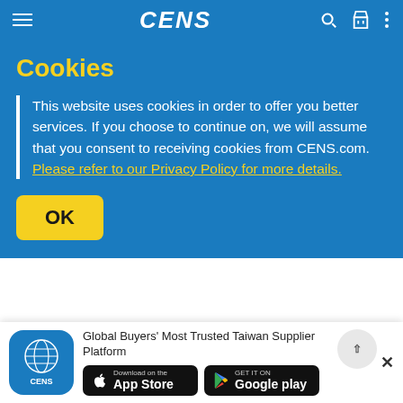CENS
Cookies
This website uses cookies in order to offer you better services. If you choose to continue on, we will assume that you consent to receiving cookies from CENS.com. Please refer to our Privacy Policy for more details.
OK
Chip shortages continue to hamper automotive...
Global Buyers' Most Trusted Taiwan Supplier Platform
[Figure (screenshot): App Store and Google Play download buttons with CENS app icon]
automotive sector, major car manufacturers expect a